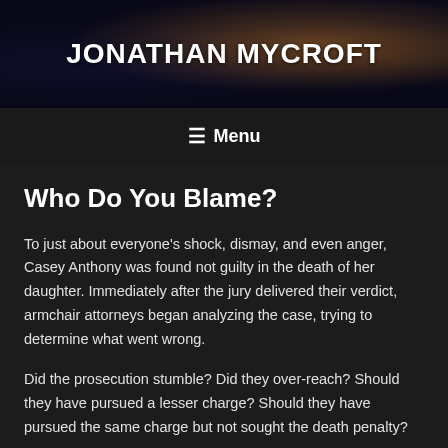JONATHAN MYCROFT
Who Do You Blame?
To just about everyone's shock, dismay, and even anger, Casey Anthony was found not guilty in the death of her daughter. Immediately after the jury delivered their verdict, armchair attorneys began analyzing the case, trying to determine what went wrong.
Did the prosecution stumble? Did they over-reach? Should they have pursued a lesser charge? Should they have pursued the same charge but not sought the death penalty?